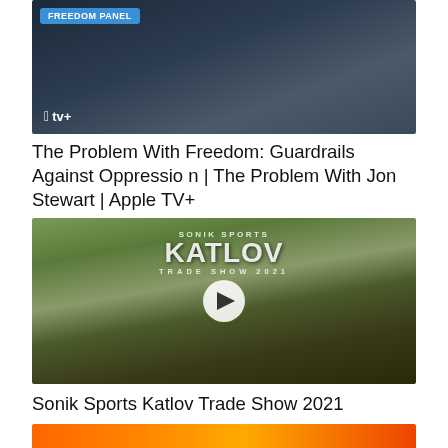[Figure (screenshot): Video thumbnail showing 'Freedom Panel' badge in blue, Apple TV+ logo at bottom left, person in dark jacket in background. Partial top of image visible.]
The Problem With Freedom: Guardrails Against Oppression | The Problem With Jon Stewart | Apple TV+
[Figure (screenshot): Video thumbnail for Sonik Sports Katlov Trade Show 2021. Group of people standing in water/lake with the event branding overlay. Play button visible in center.]
Sonik Sports Katlov Trade Show 2021
[Figure (screenshot): Partially visible thumbnail at bottom of page with orange/red background.]